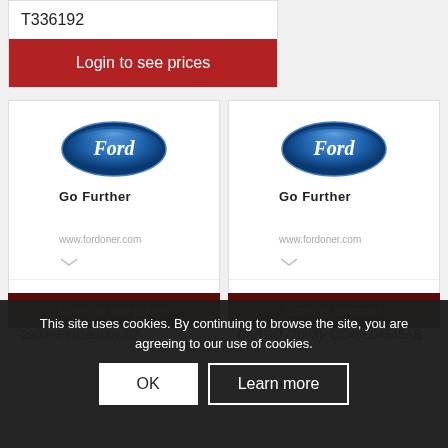T336192
Login to see prices
[Figure (logo): Ford oval blue logo with 'Go Further' tagline and www.fordoner.com URL - left card]
YOKE FLANGE (2517) – FY-01630-01.02 – T124125 – CARGO -2003- FY0163001.02
[Figure (logo): Ford oval blue logo with 'Go Further' tagline and www.fordoner.com URL - right card]
X CAR BEAM ASSY-INST.PANEL – CC46-E04545-AB – T214860 – CARGO (2003)- CC46E04545AB
Login to see prices
Login to se prices
This site uses cookies. By continuing to browse the site, you are agreeing to our use of cookies.
OK
Learn more